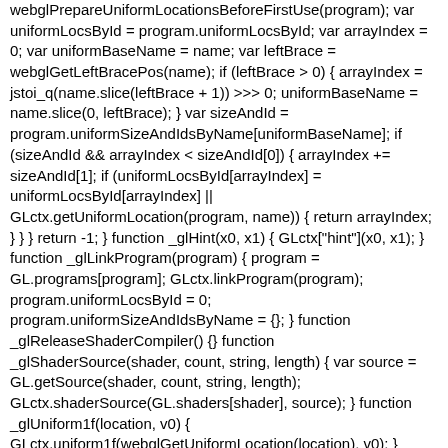webglPrepareUniformLocationsBeforeFirstUse(program); var uniformLocsById = program.uniformLocsById; var arrayIndex = 0; var uniformBaseName = name; var leftBrace = webglGetLeftBracePos(name); if (leftBrace > 0) { arrayIndex = jstoi_q(name.slice(leftBrace + 1)) >>> 0; uniformBaseName = name.slice(0, leftBrace); } var sizeAndId = program.uniformSizeAndIdsByName[uniformBaseName]; if (sizeAndId && arrayIndex < sizeAndId[0]) { arrayIndex += sizeAndId[1]; if (uniformLocsById[arrayIndex] = uniformLocsById[arrayIndex] || GLctx.getUniformLocation(program, name)) { return arrayIndex; } } } return -1; } function _glHint(x0, x1) { GLctx["hint"](x0, x1); } function _glLinkProgram(program) { program = GL.programs[program]; GLctx.linkProgram(program); program.uniformLocsById = 0; program.uniformSizeAndIdsByName = {}; } function _glReleaseShaderCompiler() {} function _glShaderSource(shader, count, string, length) { var source = GL.getSource(shader, count, string, length); GLctx.shaderSource(GL.shaders[shader], source); } function _glUniform1f(location, v0) { GLctx.uniform1f(webglGetUniformLocation(location), v0); } function _glUniform1i(location, v0) { GLctx.uniform1i(webglGetUniformLocation(location), v0); } function _glUniform3f(location, v0, v1, v2) { GLctx.uniform3f(webglGetUniformLocation(location), v0, v1